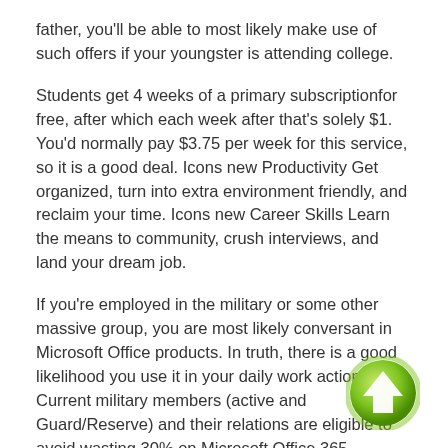father, you'll be able to most likely make use of such offers if your youngster is attending college.
Students get 4 weeks of a primary subscriptionfor free, after which each week after that's solely $1. You'd normally pay $3.75 per week for this service, so it is a good deal. Icons new Productivity Get organized, turn into extra environment friendly, and reclaim your time. Icons new Career Skills Learn the means to community, crush interviews, and land your dream job.
If you're employed in the military or some other massive group, you are most likely conversant in Microsoft Office products. In truth, there is a good likelihood you use it in your daily work actions. Current military members (active and Guard/Reserve) and their relations are eligible to avoid wasting 30% on Microsoft Office 365 subscriptions. For K-12 and school college students and their mother and father. Students save as a lot as 20 p.c on HP products and get free shipping. HP offers a web-based software called PC MatchLab to assist you select the best laptop for your wants.
Scams and frauds are prevalent when buying online. Make certain to solely buy from respected web sites that guarantee